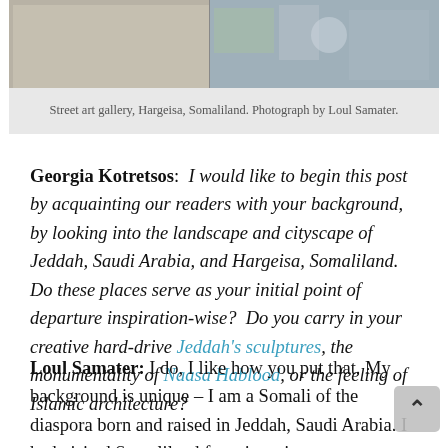[Figure (photo): Street art gallery in Hargeisa, Somaliland. Two photos side by side: left shows an indoor gallery space, right shows people in what appears to be a gallery or workshop setting.]
Street art gallery, Hargeisa, Somaliland. Photograph by Loul Samater.
Georgia Kotretsos:  I would like to begin this post by acquainting our readers with your background, by looking into the landscape and cityscape of Jeddah, Saudi Arabia, and Hargeisa, Somaliland. Do these places serve as your initial point of departure inspiration-wise?  Do you carry in your creative hard-drive Jeddah's sculptures, the monumentality of Naasa Hablood, or the feeling of Islamic architecture?
Loul Samater: I do, I like how you put that. My background is unique – I am a Somali of the diaspora born and raised in Jeddah, Saudi Arabia. I had visited Somaliland four times in